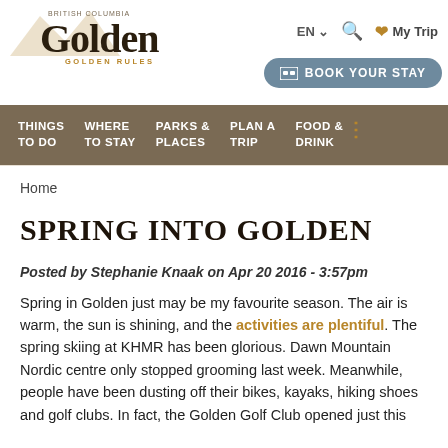Golden — GOLDEN RULES | EN | Search | My Trip | BOOK YOUR STAY
THINGS TO DO | WHERE TO STAY | PARKS & PLACES | PLAN A TRIP | FOOD & DRINK
Home
SPRING INTO GOLDEN
Posted by Stephanie Knaak on Apr 20 2016 - 3:57pm
Spring in Golden just may be my favourite season. The air is warm, the sun is shining, and the activities are plentiful. The spring skiing at KHMR has been glorious. Dawn Mountain Nordic centre only stopped grooming last week. Meanwhile, people have been dusting off their bikes, kayaks, hiking shoes and golf clubs. In fact, the Golden Golf Club opened just this